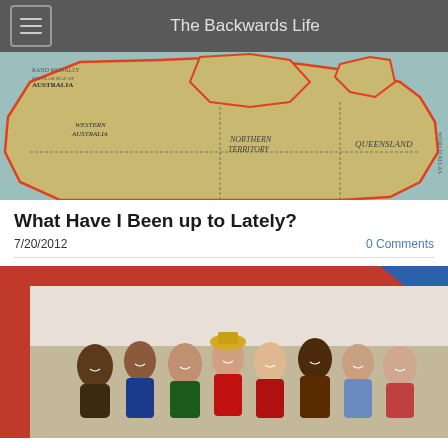The Backwards Life
[Figure (map): Vintage map of Australia showing Northern Territory and Queensland regions with colored borders and geographical annotations]
What Have I Been up to Lately?
7/20/2012
0 Comments
[Figure (photo): Group photo of approximately 9-10 people smiling and posing together indoors, with a red and blue decorative border/frame around the photo]